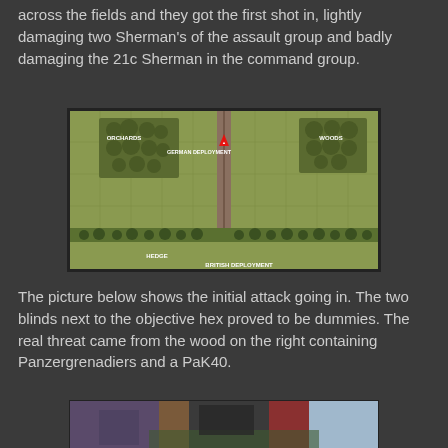across the fields and they got the first shot in, lightly damaging two Sherman's of the assault group and badly damaging the 21c Sherman in the command group.
[Figure (map): Top-down tactical map showing German Deployment in the north with Orchards on the left and Woods on the right, and British Deployment in the south behind a Hedge. A road runs vertically through the center.]
The picture below shows the initial attack going in. The two blinds next to the objective hex proved to be dummies. The real threat came from the wood on the right containing Panzergrenadiers and a PaK40.
[Figure (photo): Photograph of a tabletop wargame showing miniature soldiers and vehicles on a battlefield terrain mat.]